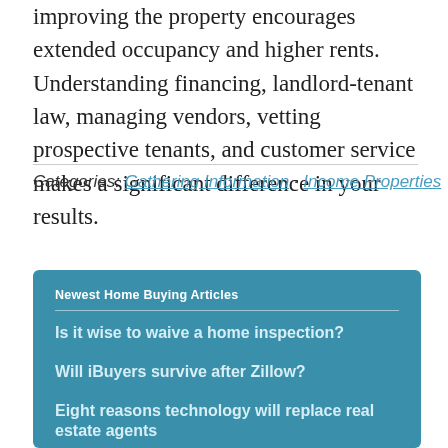improving the property encourages extended occupancy and higher rents. Understanding financing, landlord-tenant law, managing vendors, vetting prospective tenants, and customer service makes a significant difference in your results.
Categories: Gathering Information · Income Properties
Newest Home Buying Articles
Is it wise to waive a home inspection?
Will iBuyers survive after Zillow?
Eight reasons technology will replace real estate agents